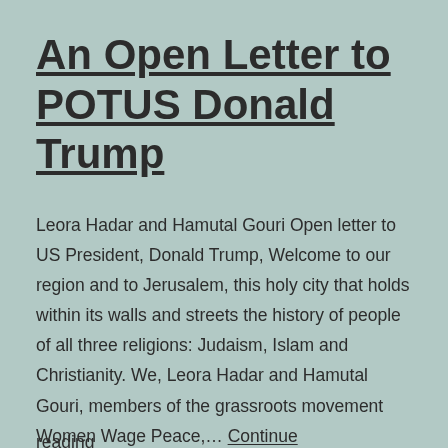An Open Letter to POTUS Donald Trump
Leora Hadar and Hamutal Gouri Open letter to US President, Donald Trump, Welcome to our region and to Jerusalem, this holy city that holds within its walls and streets the history of people of all three religions: Judaism, Islam and Christianity. We, Leora Hadar and Hamutal Gouri, members of the grassroots movement Women Wage Peace,… Continue reading